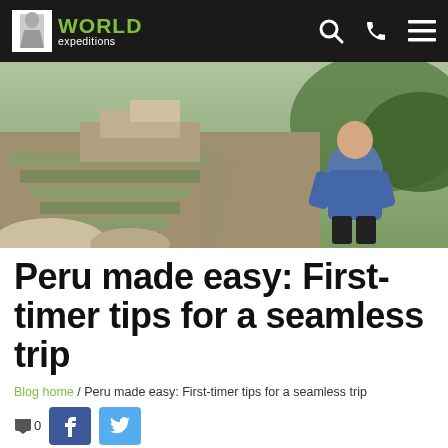World Expeditions
[Figure (photo): Hero image of Machu Picchu ruins with green terraces and a man in a blue jacket sitting in the foreground on the right side]
Peru made easy: First-timer tips for a seamless trip
Blog home / Peru made easy: First-timer tips for a seamless trip
0